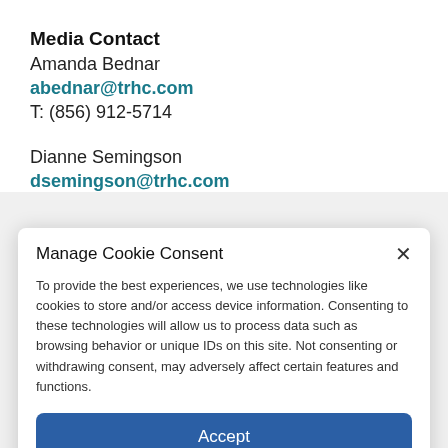Media Contact
Amanda Bednar
abednar@trhc.com
T: (856) 912-5714
Dianne Semingson
dsemingson@trhc.com
Manage Cookie Consent
To provide the best experiences, we use technologies like cookies to store and/or access device information. Consenting to these technologies will allow us to process data such as browsing behavior or unique IDs on this site. Not consenting or withdrawing consent, may adversely affect certain features and functions.
Accept